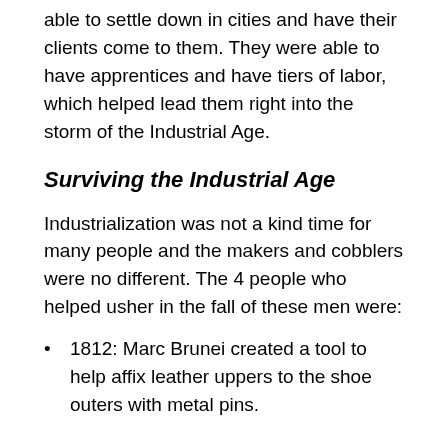able to settle down in cities and have their clients come to them. They were able to have apprentices and have tiers of labor, which helped lead them right into the storm of the Industrial Age.
Surviving the Industrial Age
Industrialization was not a kind time for many people and the makers and cobblers were no different. The 4 people who helped usher in the fall of these men were:
1812: Marc Brunei created a tool to help affix leather uppers to the shoe outers with metal pins.